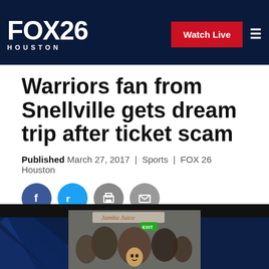FOX 26 HOUSTON | Watch Live
Warriors fan from Snellville gets dream trip after ticket scam
Published March 27, 2017 | Sports | FOX 26 Houston
[Figure (photo): Photo of a crowd scene inside an arena, with a Jamba Juice sign visible. A smiling basketball player (likely Steph Curry) is seen in the crowd near an exit sign.]